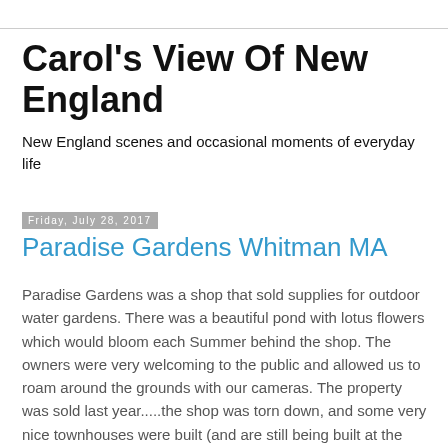Carol's View Of New England
New England scenes and occasional moments of everyday life
Friday, July 28, 2017
Paradise Gardens Whitman MA
Paradise Gardens was a shop that sold supplies for outdoor water gardens. There was a beautiful pond with lotus flowers which would bloom each Summer behind the shop. The owners were very welcoming to the public and allowed us to roam around the grounds with our cameras. The property was sold last year.....the shop was torn down, and some very nice townhouses were built (and are still being built at the time of this writing.)